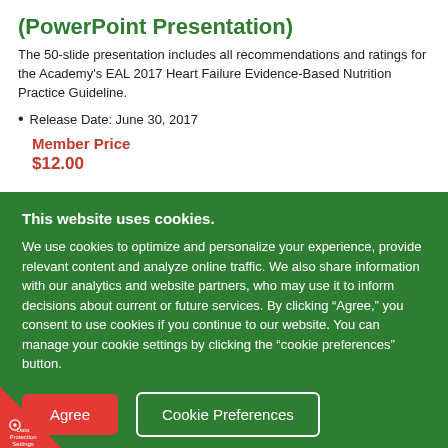(PowerPoint Presentation)
The 50-slide presentation includes all recommendations and ratings for the Academy’s EAL 2017 Heart Failure Evidence-Based Nutrition Practice Guideline.
Release Date: June 30, 2017
Member Price
$12.00
This website uses cookies.
We use cookies to optimize and personalize your experience, provide relevant content and analyze online traffic. We also share information with our analytics and website partners, who may use it to inform decisions about current or future services. By clicking “Agree,” you consent to use cookies if you continue to our website. You can manage your cookie settings by clicking the “cookie preferences” button.